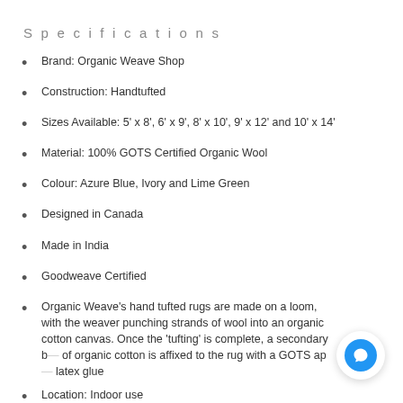Specifications
Brand: Organic Weave Shop
Construction: Handtufted
Sizes Available: 5' x 8', 6' x 9', 8' x 10', 9' x 12' and 10' x 14'
Material: 100% GOTS Certified Organic Wool
Colour: Azure Blue, Ivory and Lime Green
Designed in Canada
Made in India
Goodweave Certified
Organic Weave's hand tufted rugs are made on a loom, with the weaver punching strands of wool into an organic cotton canvas. Once the 'tufting' is complete, a secondary b... of organic cotton is affixed to the rug with a GOTS ap... latex glue
Location: Indoor use